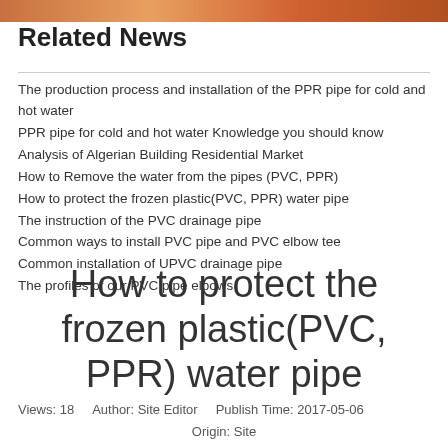[Figure (photo): Top image strip showing pipes, partial view]
Related News
The production process and installation of the PPR pipe for cold and hot water
PPR pipe for cold and hot water Knowledge you should know
Analysis of Algerian Building Residential Market
How to Remove the water from the pipes (PVC, PPR)
How to protect the frozen plastic(PVC, PPR) water pipe
The instruction of the PVC drainage pipe
Common ways to install PVC pipe and PVC elbow tee
Common installation of UPVC drainage pipe
The profiles of our PVC pipe elbows
How to protect the frozen plastic(PVC, PPR) water pipe
Views: 18    Author: Site Editor    Publish Time: 2017-05-06    Origin: Site